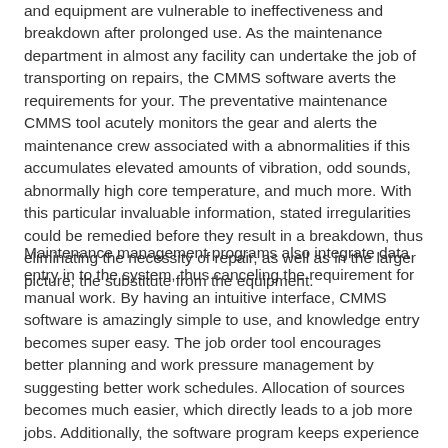and equipment are vulnerable to ineffectiveness and breakdown after prolonged use. As the maintenance department in almost any facility can undertake the job of transporting on repairs, the CMMS software averts the requirements for your. The preventative maintenance CMMS tool acutely monitors the gear and alerts the maintenance crew associated with a abnormalities if this accumulates elevated amounts of vibration, odd sounds, abnormally high core temperature, and much more. With this particular invaluable information, stated irregularities could be remedied before they result in a breakdown, thus eliminating the necessity of repair, as well as in the larger picture, the substitute from the equipment.
Maintenance management programs also integrate data entry in to the system, thus canceling the requirement for manual work. By having an intuitive interface, CMMS software is amazingly simple to use, and knowledge entry becomes super easy. The job order tool encourages better planning and work pressure management by suggesting better work schedules. Allocation of sources becomes much easier, which directly leads to a job more jobs. Additionally, the software program keeps experience on reserve materials, so individuals without one aren't issued. This